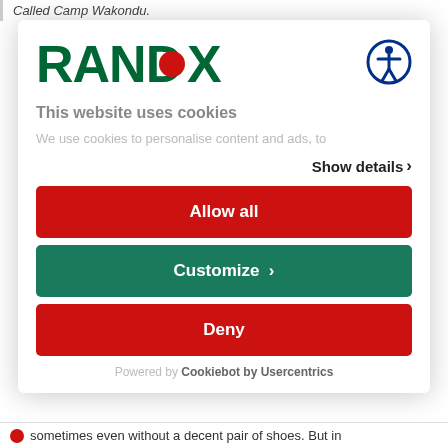Called Camp Wakondu.
[Figure (logo): Randox logo with green text and red dot, and accessibility icon circle on the right]
This website uses cookies
We use cookies to personalise content and ads, to
Show details >
Allow all
Customize >
Deny
Powered by Cookiebot by Usercentrics
sometimes even without a decent pair of shoes. But in